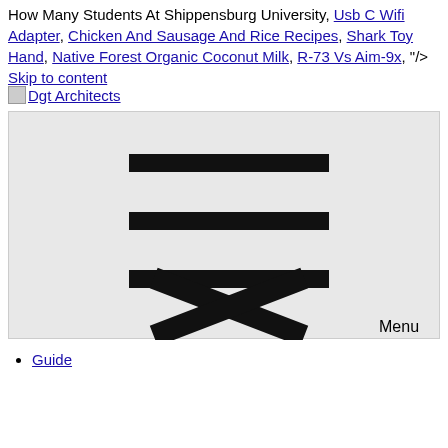How Many Students At Shippensburg University, Usb C Wifi Adapter, Chicken And Sausage And Rice Recipes, Shark Toy Hand, Native Forest Organic Coconut Milk, R-73 Vs Aim-9x, "/>
Skip to content
[Figure (screenshot): Dgt Architects logo link followed by a menu toggle button area showing three horizontal bars and an X close icon with Menu label]
Guide